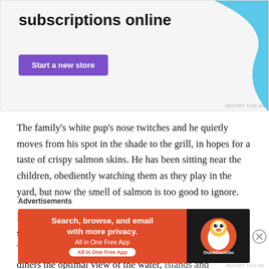[Figure (infographic): Advertisement banner with text 'subscriptions online', a purple 'Start a new store' button, and a cyan/light blue decorative shape on the right side. Small 'REPORT THIS AD' text at bottom right.]
The family’s white pup’s nose twitches and he quietly moves from his spot in the shade to the grill, in hopes for a taste of crispy salmon skins. He has been sitting near the children, obediently watching them as they play in the yard, but now the smell of salmon is too good to ignore.
Everyone begins to gather around the dinner table, a simple picnic table covered in white linens and flowers. The location of the table has been selected to give all diners the optimal view of the water, islands and mountains. The table setting is formal, but not stuffy
Advertisements
[Figure (infographic): DuckDuckGo advertisement banner: orange/red background on left with text 'Search, browse, and email with more privacy. All in One Free App', dark background on right with DuckDuckGo logo/duck icon.]